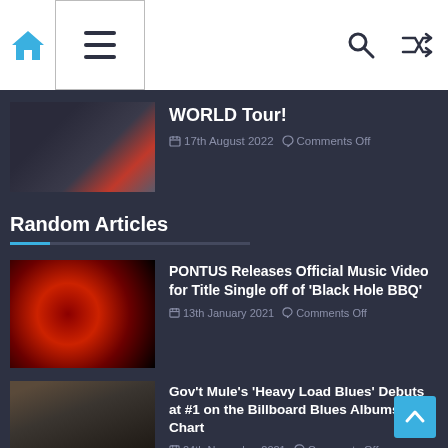Navigation bar with home icon, menu, search, and shuffle icons
WORLD Tour! — 17th August 2022 — Comments Off
Random Articles
PONTUS Releases Official Music Video for Title Single off of 'Black Hole BBQ' — 13th January 2021 — Comments Off
Gov't Mule's 'Heavy Load Blues' Debuts at #1 on the Billboard Blues Albums Chart — 24th November 2021 — Comments Off